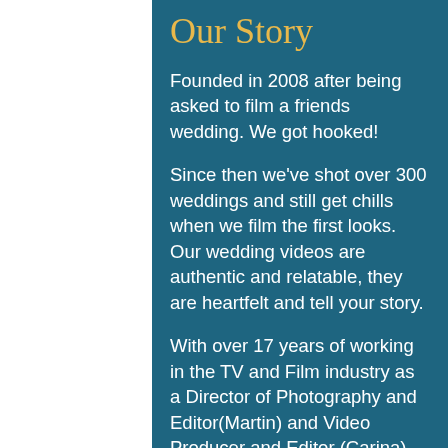Our Story
Founded in 2008 after being asked to film a friends wedding. We got hooked!
Since then we've shot over 300 weddings and still get chills when we film the first looks.  Our wedding videos are authentic and relatable, they are heartfelt and tell your story.
With over 17 years of working in the TV and Film industry as a Director of Photography and Editor(Martin) and Video Producer and Editor (Carina) we